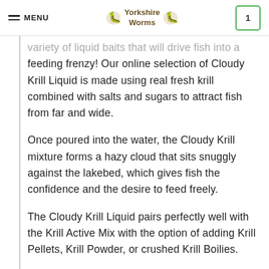MENU | Yorkshire Worms | 1
variety of liquid baits that will drive fish into a feeding frenzy! Our online selection of Cloudy Krill Liquid is made using real fresh krill combined with salts and sugars to attract fish from far and wide.
Once poured into the water, the Cloudy Krill mixture forms a hazy cloud that sits snuggly against the lakebed, which gives fish the confidence and the desire to feed freely.
The Cloudy Krill Liquid pairs perfectly well with the Krill Active Mix with the option of adding Krill Pellets, Krill Powder, or crushed Krill Boilies.
Similarly, the Cloudy Manilla Liquid has been designed and tested to attract fish into a feeding frenzy. The combination of salts, sugars, and highly